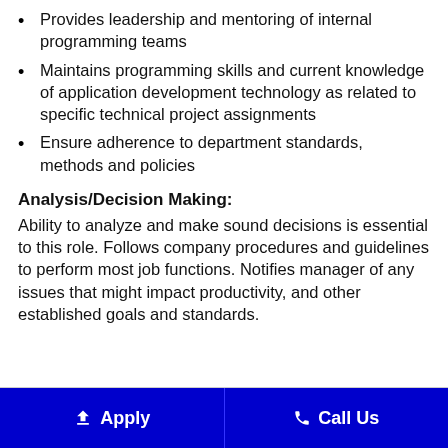Provides leadership and mentoring of internal programming teams
Maintains programming skills and current knowledge of application development technology as related to specific technical project assignments
Ensure adherence to department standards, methods and policies
Analysis/Decision Making:
Ability to analyze and make sound decisions is essential to this role. Follows company procedures and guidelines to perform most job functions. Notifies manager of any issues that might impact productivity, and other established goals and standards.
Apply   Call Us